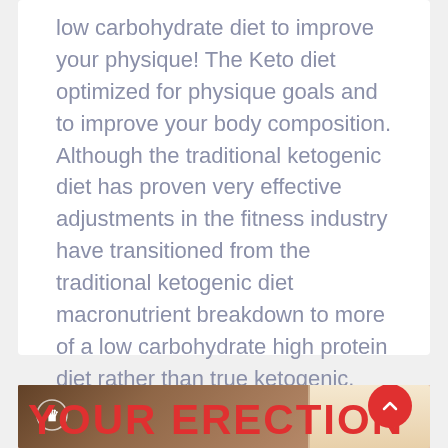low carbohydrate diet to improve your physique! The Keto diet optimized for physique goals and to improve your body composition. Although the traditional ketogenic diet has proven very effective adjustments in the fitness industry have transitioned from the traditional ketogenic diet macronutrient breakdown to more of a low carbohydrate high protein diet rather than true ketogenic. This ….  Read More
[Figure (photo): A promotional image with a lion logo icon in the top left corner and bold red text reading 'YOUR ERECTION' at the bottom, with a background showing a partial body image]